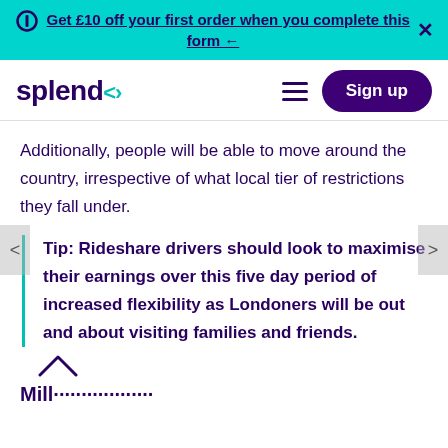Get £10 off your first order when you complete this form ←
[Figure (logo): Splend logo with teal angle-bracket accent mark]
Additionally, people will be able to move around the country, irrespective of what local tier of restrictions they fall under.
Tip: Rideshare drivers should look to maximise their earnings over this five day period of increased flexibility as Londoners will be out and about visiting families and friends.